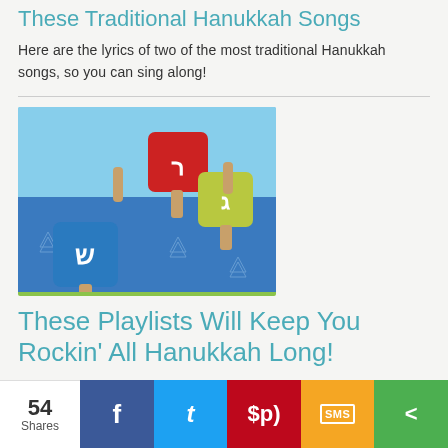These Traditional Hanukkah Songs
Here are the lyrics of two of the most traditional Hanukkah songs, so you can sing along!
[Figure (photo): Colorful dreidels (spinning tops) on a blue fabric with Star of David pattern, photographed close-up]
These Playlists Will Keep You Rockin' All Hanukkah Long!
54 Shares | Facebook | Twitter | Pinterest | SMS | Share